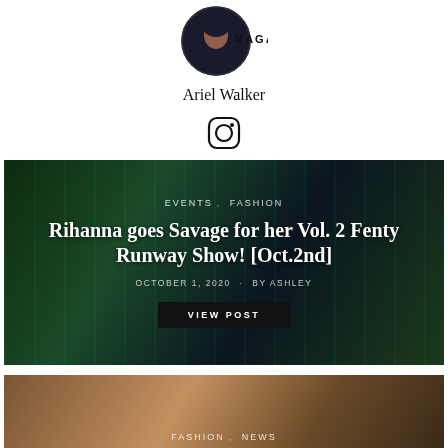[Figure (logo): Circular magazine logo with woman's face and 'MAGAZINE' text]
Ariel Walker
[Figure (illustration): Instagram icon (circle with camera outline)]
[Figure (photo): Dark fashion photo with green tones of Rihanna in black outfit, overlaid with article title, categories EVENTS, FASHION, date OCTOBER 1, 2020 BY ASHLEY, and VIEW POST button]
[Figure (photo): Partial photo of woman with blonde hair, overlaid with categories FASHION, NEWS]